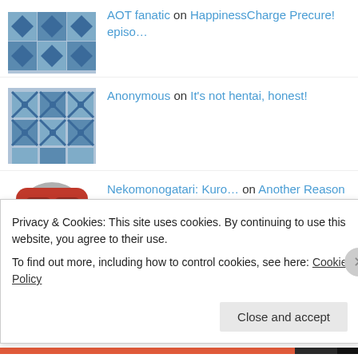AOT fanatic on HappinessCharge Precure! episo…
Anonymous on It's not hentai, honest!
Nekomonogatari: Kuro… on Another Reason Why I Like Anim…
Alyson Burston on HappinessCharge Precure! episo…
Αγγελος on Season of Sequels, Black Lagoo…
utilsabound on Gunslinger Girl: Finale
Privacy & Cookies: This site uses cookies. By continuing to use this website, you agree to their use.
To find out more, including how to control cookies, see here: Cookie Policy
Close and accept